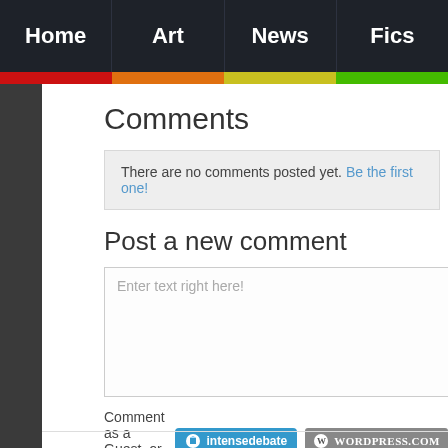Home | Art | News | Fics
Comments
There are no comments posted yet. Be the first one!
Post a new comment
Enter text right here!
Comment as a Guest, or login: intensedebate  WORDPRESS.COM
Name
Displayed next to your comments.
Email
Not displayed publicly.
We
If yo
Subscribe to  None